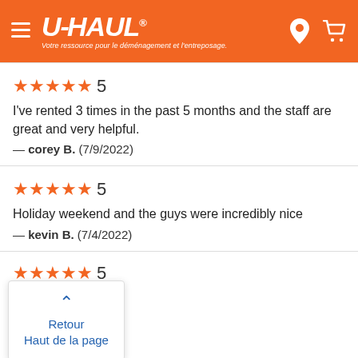U-HAUL — Votre ressource pour le déménagement et l'entreposage.
★★★★★ 5
I've rented 3 times in the past 5 months and the staff are great and very helpful.
— corey B. (7/9/2022)
★★★★★ 5
Holiday weekend and the guys were incredibly nice
— kevin B. (7/4/2022)
★★★★★ 5
...ful!
...022)
Retour
Haut de la page
★★★★★ 5